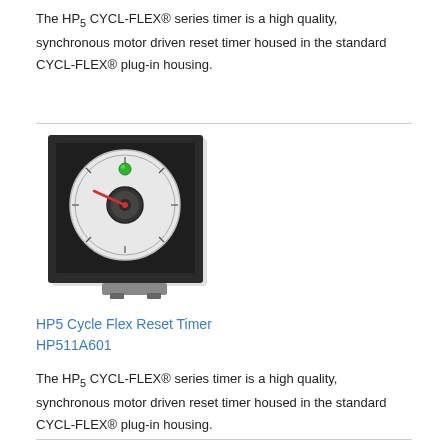The HP5 CYCL-FLEX® series timer is a high quality, synchronous motor driven reset timer housed in the standard CYCL-FLEX® plug-in housing.
[Figure (photo): Photo of HP5 Cycle Flex Reset Timer product — a square black panel-mount timer with a round dial face, green indicator light, and red pointer needle, with mounting bracket at bottom.]
HP5 Cycle Flex Reset Timer
HP511A601
The HP5 CYCL-FLEX® series timer is a high quality, synchronous motor driven reset timer housed in the standard CYCL-FLEX® plug-in housing.